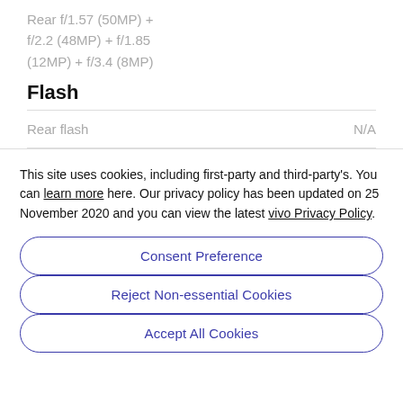Rear f/1.57 (50MP) + f/2.2 (48MP) + f/1.85 (12MP) + f/3.4 (8MP)
Flash
|  |  |
| --- | --- |
| Rear flash | N/A |
This site uses cookies, including first-party and third-party's. You can learn more here. Our privacy policy has been updated on 25 November 2020 and you can view the latest vivo Privacy Policy.
Consent Preference
Reject Non-essential Cookies
Accept All Cookies